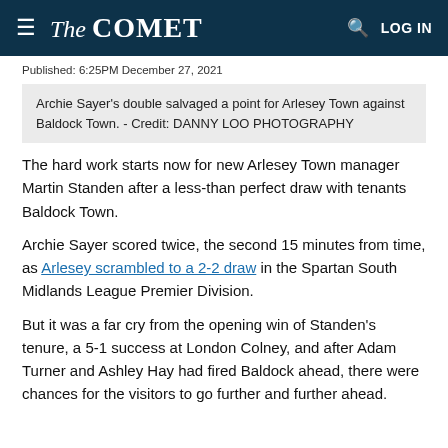The COMET
Published: 6:25PM December 27, 2021
Archie Sayer's double salvaged a point for Arlesey Town against Baldock Town. - Credit: DANNY LOO PHOTOGRAPHY
The hard work starts now for new Arlesey Town manager Martin Standen after a less-than perfect draw with tenants Baldock Town.
Archie Sayer scored twice, the second 15 minutes from time, as Arlesey scrambled to a 2-2 draw in the Spartan South Midlands League Premier Division.
But it was a far cry from the opening win of Standen's tenure, a 5-1 success at London Colney, and after Adam Turner and Ashley Hay had fired Baldock ahead, there were chances for the visitors to go further and further ahead.